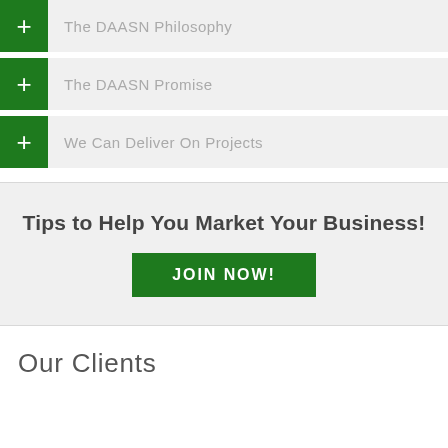The DAASN Philosophy
The DAASN Promise
We Can Deliver On Projects
Tips to Help You Market Your Business!
JOIN NOW!
Our Clients